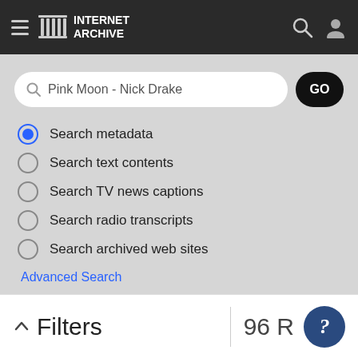[Figure (screenshot): Internet Archive mobile app navigation bar with hamburger menu, logo, search and user icons]
[Figure (screenshot): Search interface with search box containing 'Pink Moon - Nick Drake', GO button, radio button options for search type, Advanced Search link, and Share/Favorite/Play action icons]
Pink Moon - Nick Drake
Search metadata
Search text contents
Search TV news captions
Search radio transcripts
Search archived web sites
Advanced Search
Share
Favorite
Filters
96 R